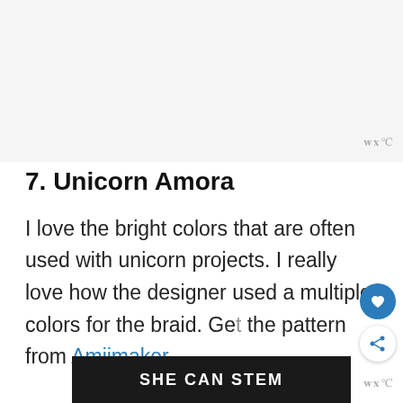[Figure (other): Light gray top area placeholder image region]
7. Unicorn Amora
I love the bright colors that are often used with unicorn projects. I really love how the designer used a multiple colors for the braid. Get the pattern from Amijmaker
SHE CAN STEM